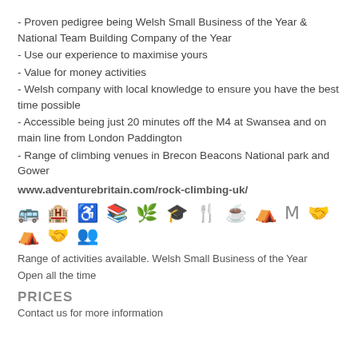- Proven pedigree being Welsh Small Business of the Year & National Team Building Company of the Year
- Use our experience to maximise yours
- Value for money activities
- Welsh company with local knowledge to ensure you have the best time possible
- Accessible being just 20 minutes off the M4 at Swansea and on main line from London Paddington
- Range of climbing venues in Brecon Beacons National park and Gower
www.adventurebritain.com/rock-climbing-uk/
[Figure (infographic): Row of grey activity/facility icons including bus, accommodation, wheelchair access, books, nature, graduation cap, cutlery, coffee cup, picnic table, letter M, heart hands, tent, handshake, group of people]
Range of activities available. Welsh Small Business of the Year
Open all the time
PRICES
Contact us for more information